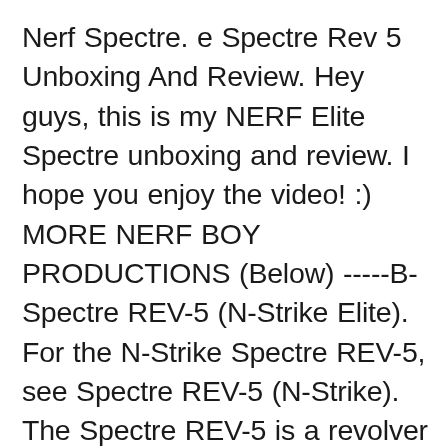Nerf Spectre. e Spectre Rev 5 Unboxing And Review. Hey guys, this is my NERF Elite Spectre unboxing and review. I hope you enjoy the video! :) MORE NERF BOY PRODUCTIONS (Below) -----B- Spectre REV-5 (N-Strike Elite). For the N-Strike Spectre REV-5, see Spectre REV-5 (N-Strike). The Spectre REV-5 is a revolver Nerf blaster that was released in 21/03/2016B B· Nerf N-Strike Elite XD Strongarm Die Nerf N-Strike Elite Strongarm ist ein Bestseller von Hasbro und ersetzte die betagte Maverick. Aber nun gibt es ein Update . Hey guys, today I am showing you my unboxing and review of the new NERF N-Strike SharpFire! I hope you enjoy :D MORE